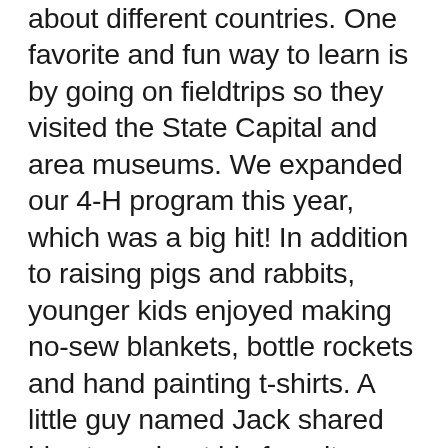about different countries. One favorite and fun way to learn is by going on fieldtrips so they visited the State Capital and area museums. We expanded our 4-H program this year, which was a big hit! In addition to raising pigs and rabbits, younger kids enjoyed making no-sew blankets, bottle rockets and hand painting t-shirts. A little guy named Jack shared his story about his favorite summer activity: “Riley and I had lots of fun doing this activity. To make our bottle rocket, which we named the Jaguar Rattlesnake rocket, we started with a liter bottle. First, we added a nose cone made of foam. Then, during flight, the nose cone got bent. A few days later we fixed it with duct tape. We added 4 rocks to